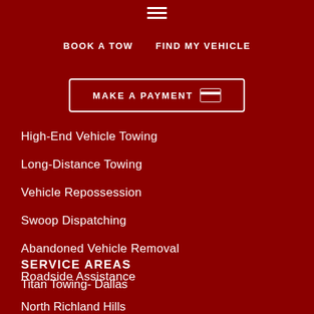[Figure (other): Hamburger menu icon (three horizontal white lines)]
BOOK A TOW
FIND MY VEHICLE
MAKE A PAYMENT
High-End Vehicle Towing
Long-Distance Towing
Vehicle Repossession
Swoop Dispatching
Abandoned Vehicle Removal
Roadside Assistance
SERVICE AREAS
Titan Towing- Dallas
North Richland Hills